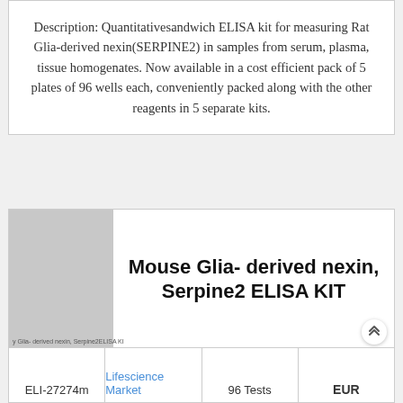Description: Quantitativesandwich ELISA kit for measuring Rat Glia-derived nexin(SERPINE2) in samples from serum, plasma, tissue homogenates. Now available in a cost efficient pack of 5 plates of 96 wells each, conveniently packed along with the other reagents in 5 separate kits.
[Figure (photo): Product image placeholder for Rat Glia-derived nexin SERPINE2 ELISA kit, grey rectangle with small text overlay]
Mouse Glia- derived nexin, Serpine2 ELISA KIT
|  |  | 96 Tests | EUR |
| --- | --- | --- | --- |
| ELI-27274m | Lifescience Market | 96 Tests | EUR |